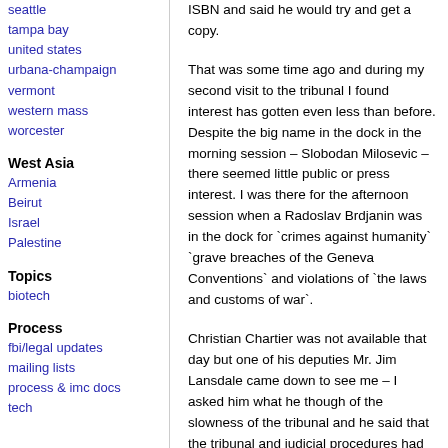seattle
tampa bay
united states
urbana-champaign
vermont
western mass
worcester
West Asia
Armenia
Beirut
Israel
Palestine
Topics
biotech
Process
fbi/legal updates
mailing lists
process & imc docs
tech
ISBN and said he would try and get a copy.
That was some time ago and during my second visit to the tribunal I found interest has gotten even less than before. Despite the big name in the dock in the morning session – Slobodan Milosevic – there seemed little public or press interest. I was there for the afternoon session when a Radoslav Brdjanin was in the dock for `crimes against humanity` `grave breaches of the Geneva Conventions` and violations of `the laws and customs of war`.
Christian Chartier was not available that day but one of his deputies Mr. Jim Lansdale came down to see me – I asked him what he though of the slowness of the tribunal and he said that the tribunal and judicial procedures had taken time to build up.